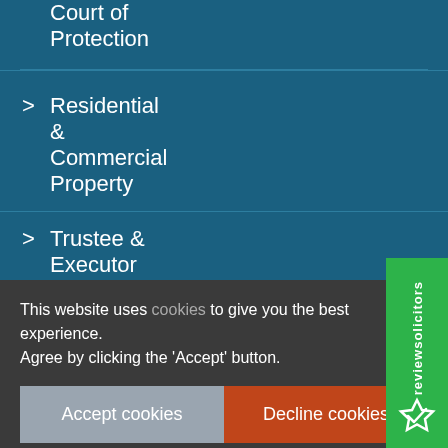Court of Protection
Residential & Commercial Property
Trustee & Executor Services
Wills
This website uses cookies to give you the best experience. Agree by clicking the 'Accept' button.
Accept cookies
Decline cookies